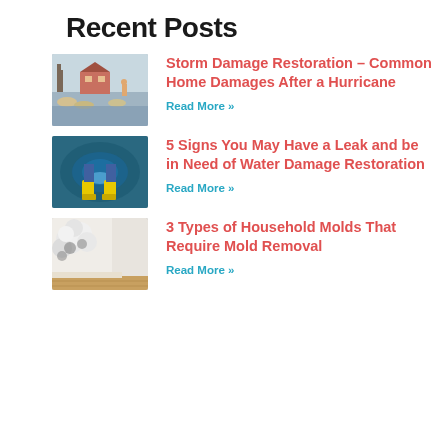Recent Posts
[Figure (photo): Flooded house exterior with sandbags and water surrounding the building]
Storm Damage Restoration – Common Home Damages After a Hurricane
Read More »
[Figure (photo): Person wearing yellow rain boots standing in flooded blue water]
5 Signs You May Have a Leak and be in Need of Water Damage Restoration
Read More »
[Figure (photo): White fluffy mold growing on wall corner near wood floor]
3 Types of Household Molds That Require Mold Removal
Read More »